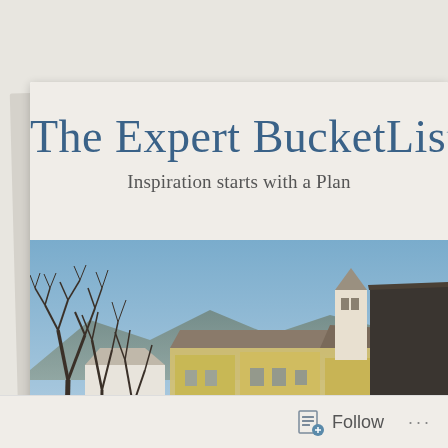The Expert BucketLis
Inspiration starts with a Plan
[Figure (photo): Outdoor landscape photograph showing a European monastery or village with yellow buildings, a church tower, bare trees in the foreground, green fields, and a blue sky with mountains in the background.]
Follow ...